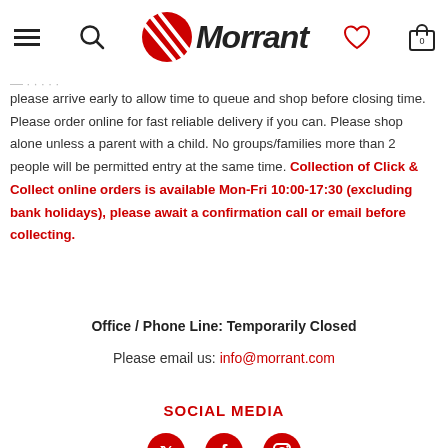Morrant – navigation header with hamburger menu, search, logo, wishlist, cart
please arrive early to allow time to queue and shop before closing time. Please order online for fast reliable delivery if you can. Please shop alone unless a parent with a child. No groups/families more than 2 people will be permitted entry at the same time. Collection of Click & Collect online orders is available Mon-Fri 10:00-17:30 (excluding bank holidays), please await a confirmation call or email before collecting.
Office / Phone Line: Temporarily Closed
Please email us: info@morrant.com
SOCIAL MEDIA